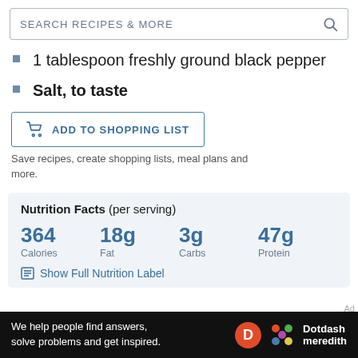SEARCH RECIPES & MORE
1 tablespoon freshly ground black pepper
Salt, to taste
ADD TO SHOPPING LIST
Save recipes, create shopping lists, meal plans and more.
| Calories | Fat | Carbs | Protein |
| --- | --- | --- | --- |
| 364 | 18g | 3g | 47g |
Show Full Nutrition Label
We help people find answers, solve problems and get inspired. Dotdash meredith